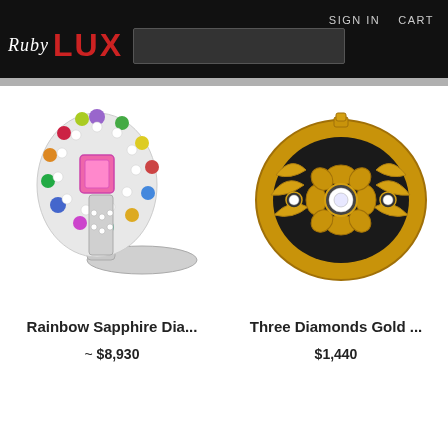SIGN IN   CART
[Figure (logo): Ruby LUX logo with script 'Ruby' in white and bold red 'LUX' on black background, with a search input box]
[Figure (photo): Rainbow Sapphire diamond ring with colorful gemstones surrounding pink center stone on silver band]
[Figure (photo): Three diamonds gold ring with flower and leaf motif in yellow gold]
Rainbow Sapphire Dia...
~ $8,930
Three Diamonds Gold ...
$1,440